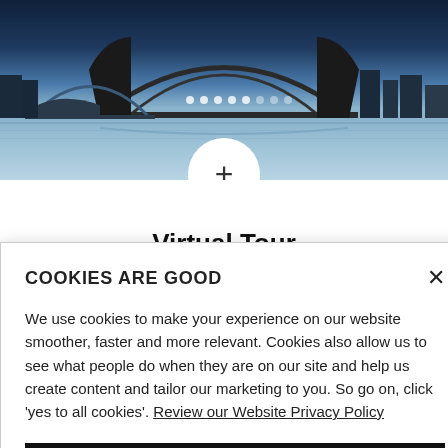[Figure (photo): Aerial/riverside photo of Newcastle upon Tyne bridge and Sage Gateshead at night with illuminated arch bridges reflected in the River Tyne. A white circle with a plus sign is overlaid at the bottom center of the image.]
Virtual Tour
Get an insight into life at Northumbria at the click of a button!
COOKIES ARE GOOD
We use cookies to make your experience on our website smoother, faster and more relevant. Cookies also allow us to see what people do when they are on our site and help us create content and tailor our marketing to you. So go on, click 'yes to all cookies'. Review our Website Privacy Policy
Yes to all cookies